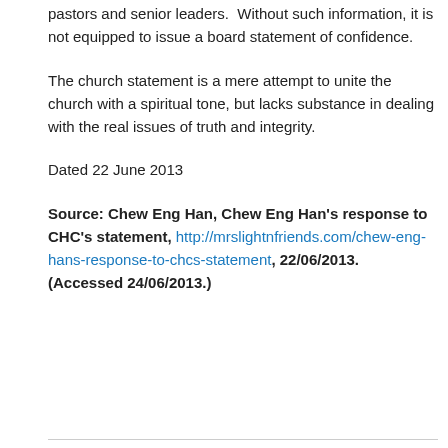pastors and senior leaders. Without such information, it is not equipped to issue a board statement of confidence.
The church statement is a mere attempt to unite the church with a spiritual tone, but lacks substance in dealing with the real issues of truth and integrity.
Dated 22 June 2013
Source: Chew Eng Han, Chew Eng Han's response to CHC's statement, http://mrslightnfriends.com/chew-eng-hans-response-to-chcs-statement, 22/06/2013. (Accessed 24/06/2013.)